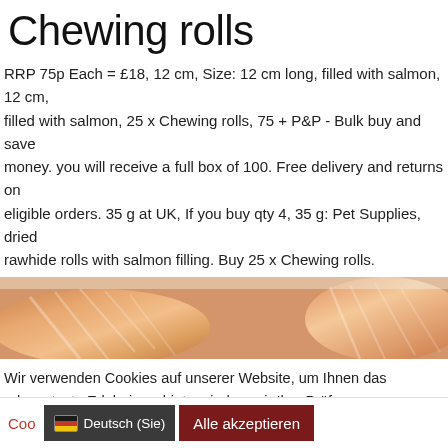Chewing rolls
RRP 75p Each = £18, 12 cm, Size: 12 cm long, filled with salmon, 12 cm, filled with salmon, 25 x Chewing rolls, 75 + P&P - Bulk buy and save money. you will receive a full box of 100. Free delivery and returns on eligible orders. 35 g at UK, If you buy qty 4, 35 g: Pet Supplies, dried rawhide rolls with salmon filling. Buy 25 x Chewing rolls.
[Figure (photo): Close-up photo of salmon pieces on a white surface, showing orange-pink flesh with white striping.]
Wir verwenden Cookies auf unserer Website, um Ihnen das relevanteste Erlebnis zu bieten, indem wir Ihre Präferenzen speichern und Besuche wiederholen. Indem Sie auf "Alle akzeptieren" klicken, stimmen Sie der Verwendung ALLER Cookies zu. Sie können jedoch die "Cookie-Einstellungen" besuchen, um eine kontrollierte Zustimmung zu erteilen.
Coo | Deutsch (Sie) | Alle akzeptieren